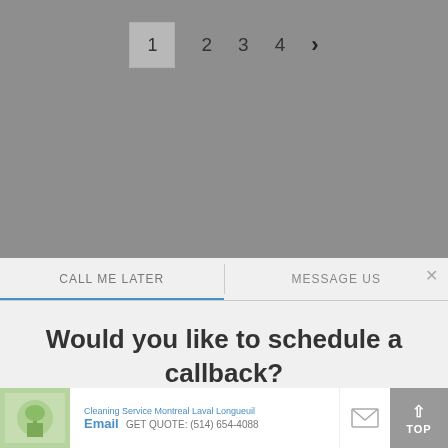[Figure (screenshot): Gray background with pagination showing page numbers 1 (boxed/selected), 2, 3, 4 and a right arrow]
CALL ME LATER   MESSAGE US
Would you like to schedule a callback?
[Figure (screenshot): Ad banner: Cleaning Service Montreal Laval Longueuil - Email - GET QUOTE: (514) 654-4088]
TOP